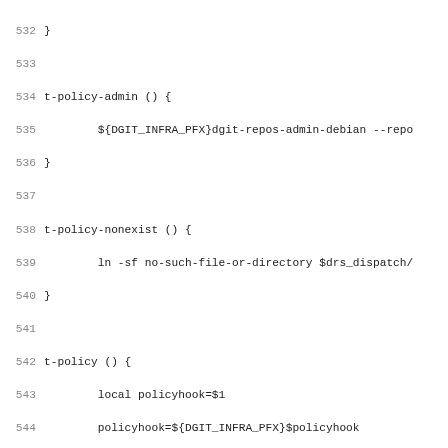Code listing lines 532-563 showing shell script functions: t-policy-admin, t-policy-nonexist, t-policy, t-debpolicy, t-policy-periodic